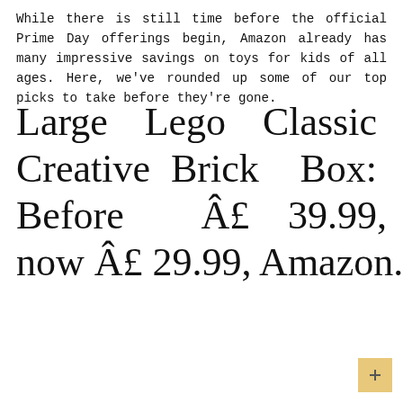While there is still time before the official Prime Day offerings begin, Amazon already has many impressive savings on toys for kids of all ages. Here, we've rounded up some of our top picks to take before they're gone.
Large Lego Classic Creative Brick Box: Before Â£ 39.99, now Â£ 29.99, Amazon.co.uk